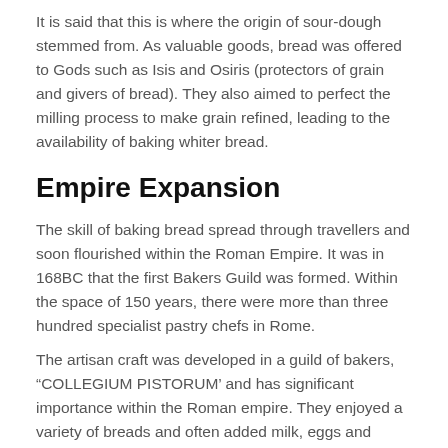It is said that this is where the origin of sour-dough stemmed from. As valuable goods, bread was offered to Gods such as Isis and Osiris (protectors of grain and givers of bread). They also aimed to perfect the milling process to make grain refined, leading to the availability of baking whiter bread.
Empire Expansion
The skill of baking bread spread through travellers and soon flourished within the Roman Empire. It was in 168BC that the first Bakers Guild was formed. Within the space of 150 years, there were more than three hundred specialist pastry chefs in Rome.
The artisan craft was developed in a guild of bakers, “COLLEGIUM PISTORUM’ and has significant importance within the Roman empire. They enjoyed a variety of breads and often added milk, eggs and butter to make it richer. However, only the wealthy and privileged could